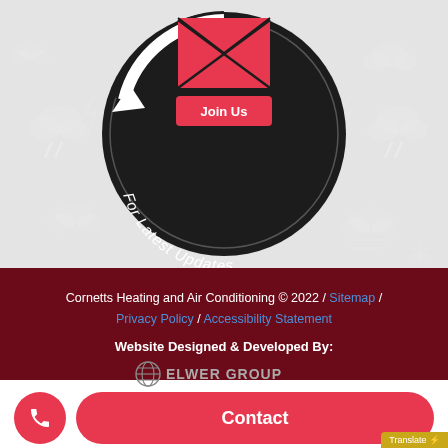[Figure (illustration): Dark circular badge with envelope icon, 'Join Us' red button, and curved text 'For Latest Updates' around the bottom. Circular arrow graphic. Set against light gray background with white weather icons (clouds, lightning bolts).]
Cornetts Heating and Air Conditioning © 2022 / Sitemap / Privacy Policy / Accessibility Statement
Website Designed & Developed By:
[Figure (logo): Elwer Group logo with globe icon and stylized text]
Contact